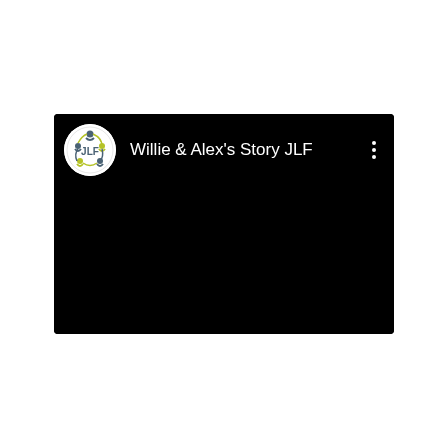[Figure (screenshot): A YouTube-style video card on a black background. Top section shows a circular JLF logo (white circle with colorful figures and 'JLF' text) on the left, channel title 'Willie & Alex's Story JLF' in white text in the center, and a three-dot menu icon on the right. The rest of the card is a black video thumbnail area.]